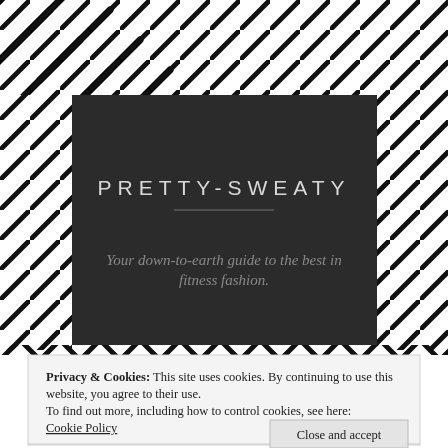[Figure (illustration): Black and white diagonal stripe / herringbone pattern background covering the page]
PRETTY-SWEATY
Your down-to-earth guide to the best in fitness fashion.
Privacy & Cookies: This site uses cookies. By continuing to use this website, you agree to their use.
To find out more, including how to control cookies, see here: Cookie Policy
Close and accept